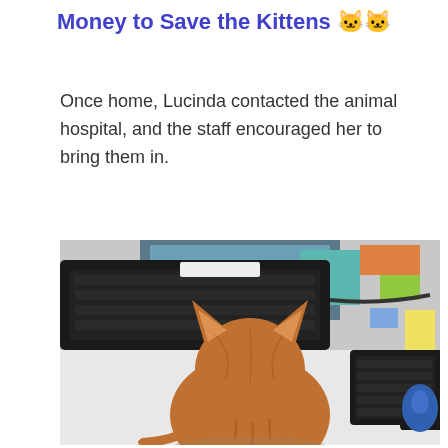Money to Save the Kittens 🐱🐱
Once home, Lucinda contacted the animal hospital, and the staff encouraged her to bring them in.
[Figure (photo): An orange tabby cat seen from behind, sitting on a white desk in front of two black keyboards, with a computer monitor and various desk items in the background. A blue computer mouse is visible on the right.]